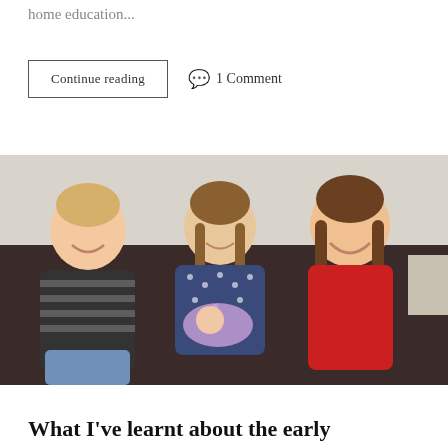home education...
Continue reading   💬 1 Comment
[Figure (photo): Three children and a newborn baby sitting on a dark sofa. A young boy on the left wearing a striped shirt, a girl in the middle holding a newborn in purple blanket, and an older girl on the right in a red dress laughing.]
What I've learnt about the early